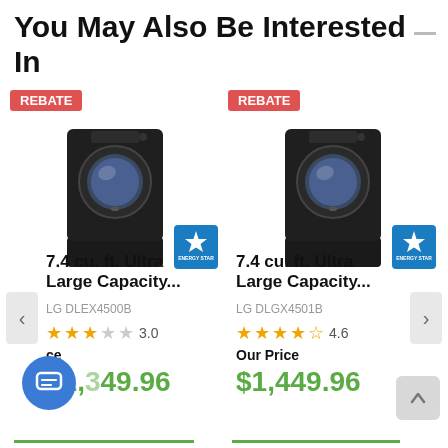You May Also Be Interested In
[Figure (photo): LG DLEX4500B black front-load dryer with pedestal, REBATE badge and ENERGY STAR logo]
7.4 cu. ft. Ultra Large Capacity...
LG DLEX4500B
3.0 stars
Our Price $1,349.96
[Figure (photo): LG DLGX4501B black front-load dryer with pedestal, REBATE badge and ENERGY STAR logo]
7.4 cu. ft. Ultra Large Capacity...
LG DLGX4501B
4.6 stars
Our Price $1,449.96